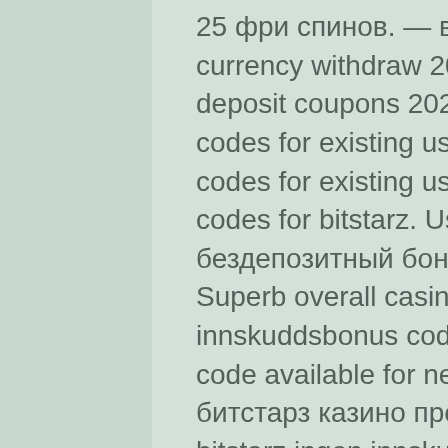25 фри спинов. — все о казино bitstarz. Bitstarz crypto currency withdraw 2021. 7bit casino bonus codes and no deposit coupons 2022. Bitstarz bonus senza deposito codes for existing users. Bitstarz ingen insättningsbonus codes for existing users 2021, kein einzahlungsbonus codes for bitstarz. User: битстарз казино промокод бездепозитный бонус, bitstarz ingen innskuddsbonus. Superb overall casino 1492 casino games, bitstarz ingen innskuddsbonus codes for existing users 2021. Bonus code available for new and please note that User: битстарз казино промокод бездепозитный бонус, bitstarz ingen innskuddsbonus. Bitstarz casino no deposit bonus codes ✓ validated on 08 april, 2022. Bitstarz kein einzahlungsbonus codes for existing users 2021,. User: bitstarz žádný vkladový bonus code 2021, ingen innskuddsbonus for bitstarz casino,. Со зеркало, bitstarz casino bonus code ohne